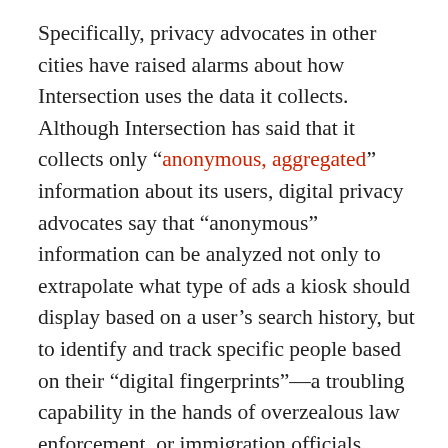Specifically, privacy advocates in other cities have raised alarms about how Intersection uses the data it collects. Although Intersection has said that it collects only “anonymous, aggregated” information about its users, digital privacy advocates say that “anonymous” information can be analyzed not only to extrapolate what type of ads a kiosk should display based on a user’s search history, but to identify and track specific people based on their “digital fingerprints”—a troubling capability in the hands of overzealous law enforcement, or immigration officials seeking to track down undocumented immigrants, or an employer who wants to know how many hours a perspective hire puts in at her current job.